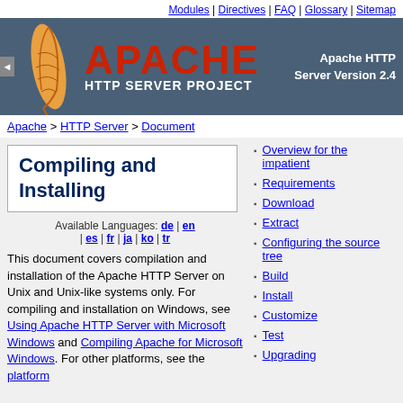Modules | Directives | FAQ | Glossary | Sitemap
[Figure (logo): Apache HTTP Server Project logo with feather and Apache text in red, subtitle 'HTTP SERVER PROJECT' and 'Apache HTTP Server Version 2.4' on dark blue-grey background]
Apache > HTTP Server > Document
Compiling and Installing
Available Languages: de | en | es | fr | ja | ko | tr
This document covers compilation and installation of the Apache HTTP Server on Unix and Unix-like systems only. For compiling and installation on Windows, see Using Apache HTTP Server with Microsoft Windows and Compiling Apache for Microsoft Windows. For other platforms, see the platform
Overview for the impatient
Requirements
Download
Extract
Configuring the source tree
Build
Install
Customize
Test
Upgrading